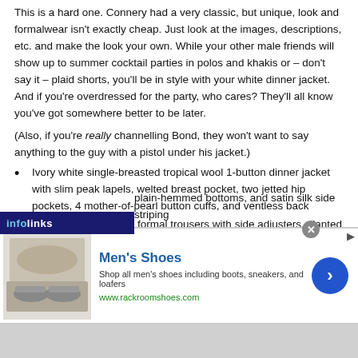This is a hard one. Connery had a very classic, but unique, look and formalwear isn't exactly cheap. Just look at the images, descriptions, etc. and make the look your own. While your other male friends will show up to summer cocktail parties in polos and khakis or – don't say it – plaid shorts, you'll be in style with your white dinner jacket. And if you're overdressed for the party, who cares? They'll all know you've got somewhere better to be later.
(Also, if you're really channelling Bond, they won't want to say anything to the guy with a pistol under his jacket.)
Ivory white single-breasted tropical wool 1-button dinner jacket with slim peak lapels, welted breast pocket, two jetted hip pockets, 4 mother-of-pearl button cuffs, and ventless back
Midnight blue pleated formal trousers with side adjusters, slanted side plain-hemmed bottoms, and satin silk side striping
[Figure (infographic): Infolinks ad bar overlay and Men's Shoes advertisement banner with image, title, description, URL, and arrow button]